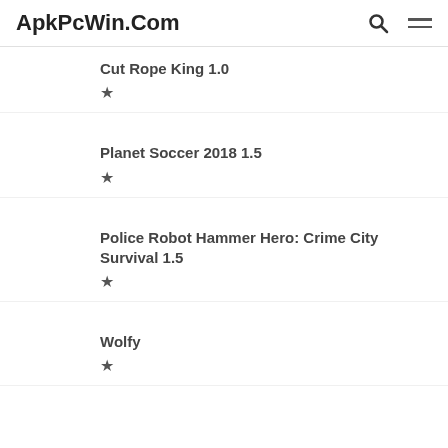ApkPcWin.Com
Cut Rope King 1.0
Planet Soccer 2018 1.5
Police Robot Hammer Hero: Crime City Survival 1.5
Wolfy